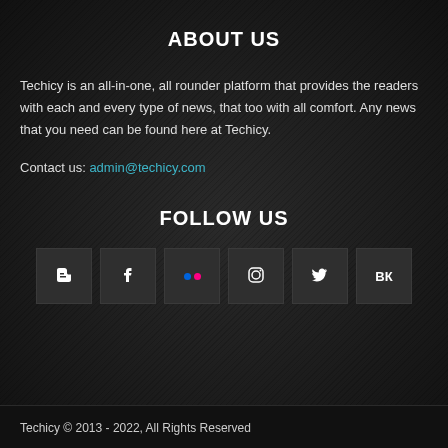ABOUT US
Techicy is an all-in-one, all rounder platform that provides the readers with each and every type of news, that too with all comfort. Any news that you need can be found here at Techicy.
Contact us: admin@techicy.com
FOLLOW US
[Figure (other): Six social media icon boxes: Blogger (B), Facebook (f), Flickr (..), Instagram (camera), Twitter (bird), VK (VK)]
Techicy © 2013 - 2022, All Rights Reserved